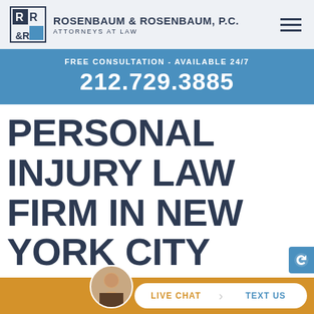ROSENBAUM & ROSENBAUM, P.C. ATTORNEYS AT LAW
FREE CONSULTATION - AVAILABLE 24/7
212.729.3885
PERSONAL INJURY LAW FIRM IN NEW YORK CITY
If you've been injured in an accident in Manhattan, NY, and need legal help, contact our New Yo...